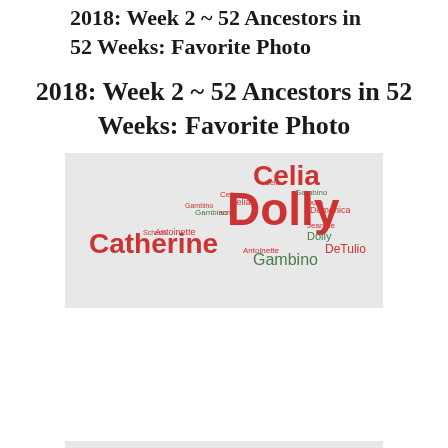2018: Week 2 ~ 52 Ancestors in 52 Weeks: Favorite Photo
2018: Week 2 ~ 52 Ancestors in 52 Weeks: Favorite Photo
[Figure (illustration): Word cloud featuring names like Celia, Dolly, Catherine, Gambino, DeTulio, Antoinette, Domenica, in red and green text on a light gray background]
Privacy & Cookies: This site uses cookies. By continuing to use this website, you agree to their use.
To find out more, including how to control cookies, see here: Cookie Policy
[Figure (illustration): Partial bottom portion of the word cloud image showing names Celia, Antoinette, DeTulio]